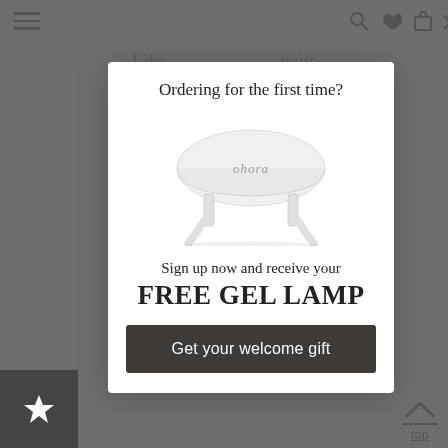[Figure (screenshot): Mobile website screenshot with a modal popup overlay. Background shows dimmed page content with navigation bar (hamburger menu, search, heart, bag icons) and article text partially visible. Foreground shows a white modal dialog with title 'Ordering for the first time?', an image of a white ohora gel lamp, text 'Sign up now and receive your FREE GEL LAMP', and a dark button 'Get your welcome gift'. Bottom bar shows a star button and top/scroll button.]
Ordering for the first time?
Sign up now and receive your
FREE GEL LAMP
Get your welcome gift